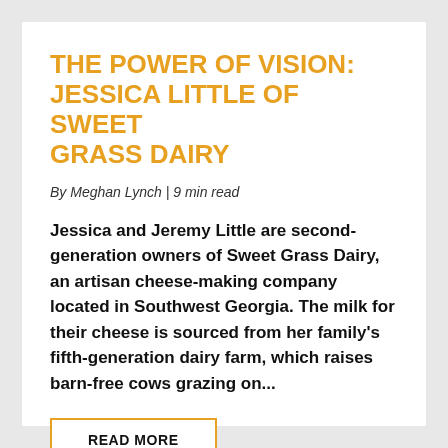THE POWER OF VISION: JESSICA LITTLE OF SWEET GRASS DAIRY
By Meghan Lynch | 9 min read
Jessica and Jeremy Little are second-generation owners of Sweet Grass Dairy, an artisan cheese-making company located in Southwest Georgia. The milk for their cheese is sourced from her family's fifth-generation dairy farm, which raises barn-free cows grazing on...
READ MORE